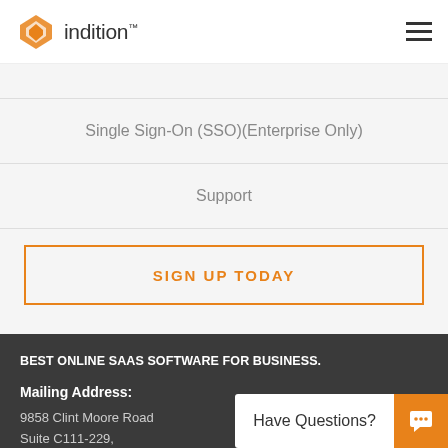[Figure (logo): Indition logo with orange diamond icon and text 'indition' with trademark symbol]
Single Sign-On (SSO)(Enterprise Only)
Support
SIGN UP TODAY
BEST ONLINE SAAS SOFTWARE FOR BUSINESS.
Mailing Address:
9858 Clint Moore Road
Suite C111-229,
Have Questions?